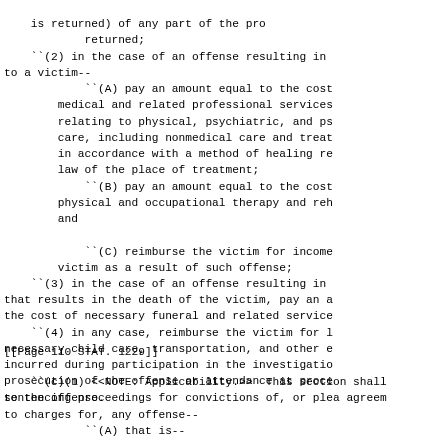is returned) of any part of the pro
            returned;
    ``(2) in the case of an offense resulting in
to a victim--
            ``(A) pay an amount equal to the cost
        medical and related professional services
        relating to physical, psychiatric, and ps
        care, including nonmedical care and treat
        in accordance with a method of healing re
        law of the place of treatment;
            ``(B) pay an amount equal to the cost
        physical and occupational therapy and reh
        and

            ``(C) reimburse the victim for income
        victim as a result of such offense;
    ``(3) in the case of an offense resulting in
that results in the death of the victim, pay an a
the cost of necessary funeral and related service
    ``(4) in any case, reimburse the victim for l
necessary child care, transportation, and other e
incurred during participation in the investigatio
prosecution of the offense or attendance at proce
to the offense.
[[Page 110 STAT. 1229]]
``(c)(1) <<NOTE: Applicability.>>  This section shall
sentencing proceedings for convictions of, or plea agreem
to charges for, any offense--
            ``(A) that is--